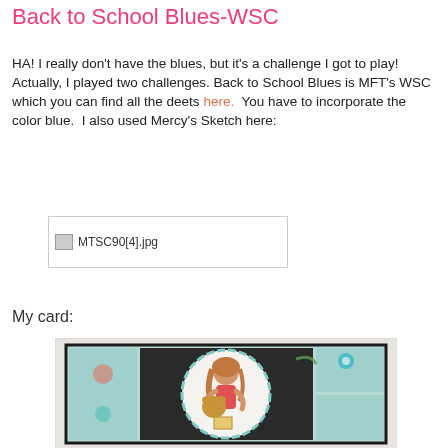Back to School Blues-WSC
HA! I really don't have the blues, but it's a challenge I got to play!  Actually, I played two challenges. Back to School Blues is MFT's WSC which you can find all the deets here.  You have to incorporate the color blue.  I also used Mercy's Sketch here:
[Figure (photo): Broken image placeholder showing filename MTSC90[4].jpg]
My card:
[Figure (photo): Photo of a handmade card featuring a girl hugging a dog/bear character, with teal/blue patterned background panels and scalloped circle die cut. Card has black border and teal decorative elements.]